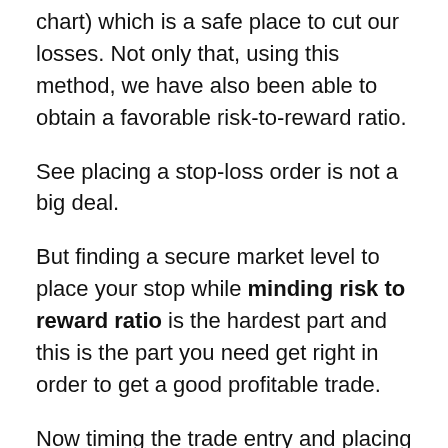chart) which is a safe place to cut our losses. Not only that, using this method, we have also been able to obtain a favorable risk-to-reward ratio.
See placing a stop-loss order is not a big deal.
But finding a secure market level to place your stop while minding risk to reward ratio is the hardest part and this is the part you need get right in order to get a good profitable trade.
Now timing the trade entry and placing the stop loss is done.